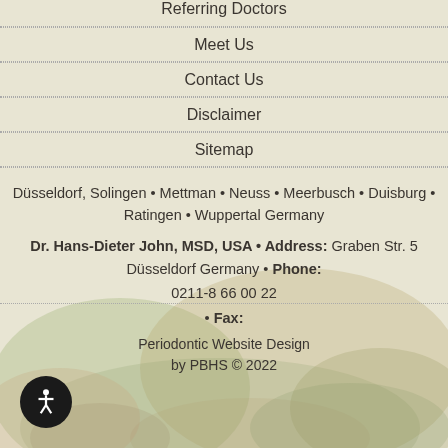Referring Doctors
Meet Us
Contact Us
Disclaimer
Sitemap
Düsseldorf, Solingen • Mettman • Neuss • Meerbusch • Duisburg • Ratingen • Wuppertal Germany
Dr. Hans-Dieter John, MSD, USA • Address: Graben Str. 5 Düsseldorf Germany • Phone:
0211-8 66 00 22
• Fax:
Periodontic Website Design by PBHS © 2022